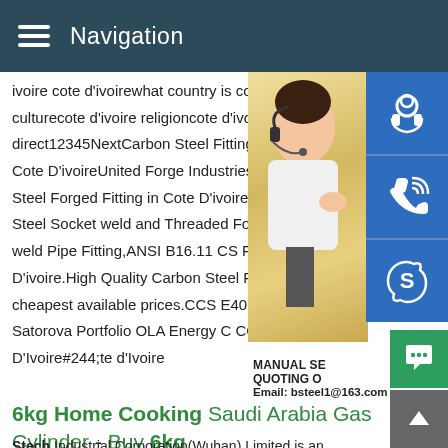Navigation
ivoire cote d'ivoirewhat country is cote d'iv culturecote d'ivoire religioncote d'ivoire ma direct12345NextCarbon Steel Fittings Man Cote D'ivoireUnited Forge Industries is a n Steel Forged Fitting in Cote D'ivoire.World Steel Socket weld and Threaded Forged F weld Pipe Fitting,ANSI B16.11 CS Forged D'ivoire.High Quality Carbon Steel Forged cheapest available prices.CCS E40 steel i Satorova Portfolio OLA Energy C CCS E4 D'Ivoire#244;te d'Ivoire
[Figure (photo): Woman with headset customer service photo with blue icon buttons for support, phone, and Skype, and a contact box showing MANUAL SE... QUOTING O... Email: bsteel1@163.com]
6kg Home Cooking Saudi Arabia Gas Cylinder - Buy 6kg
Stech Industrial Corporation(Wuhan) Limited is an international enterprise devoted in the design, technology research and